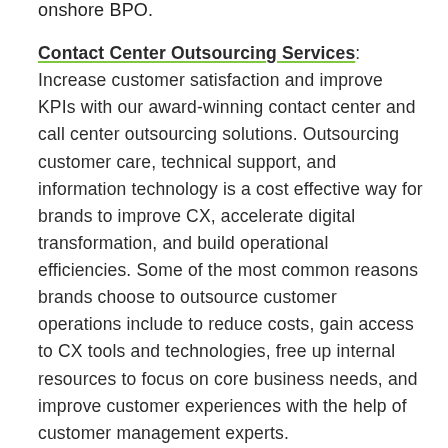onshore BPO.
Contact Center Outsourcing Services: Increase customer satisfaction and improve KPIs with our award-winning contact center and call center outsourcing solutions. Outsourcing customer care, technical support, and information technology is a cost effective way for brands to improve CX, accelerate digital transformation, and build operational efficiencies. Some of the most common reasons brands choose to outsource customer operations include to reduce costs, gain access to CX tools and technologies, free up internal resources to focus on core business needs, and improve customer experiences with the help of customer management experts.